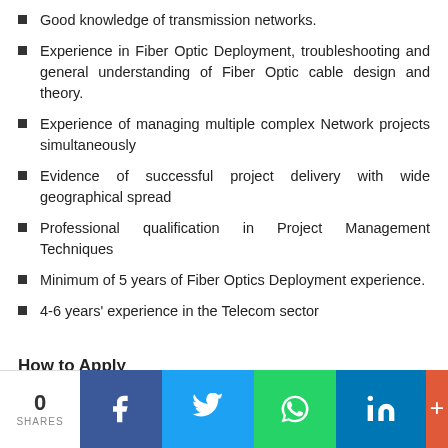Good knowledge of transmission networks.
Experience in Fiber Optic Deployment, troubleshooting and general understanding of Fiber Optic cable design and theory.
Experience of managing multiple complex Network projects simultaneously
Evidence of successful project delivery with wide geographical spread
Professional qualification in Project Management Techniques
Minimum of 5 years of Fiber Optics Deployment experience.
4-6 years' experience in the Telecom sector
How to Apply
0 SHARES  [Facebook] [Twitter] [WhatsApp] [LinkedIn] [More]